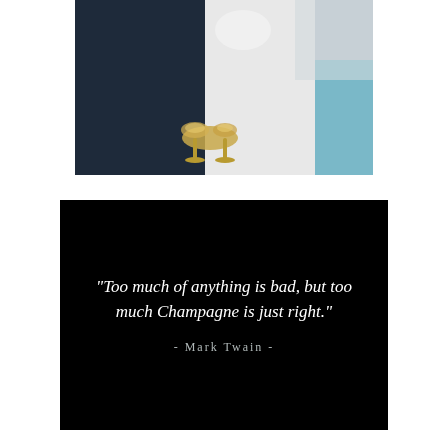[Figure (photo): A couple at a wedding toasting with champagne glasses. The person on the left wears a dark navy suit, and the person on the right wears a white wedding dress. Their arms are raised as they clink glasses.]
“Too much of anything is bad, but too much Champagne is just right.”
- Mark Twain -